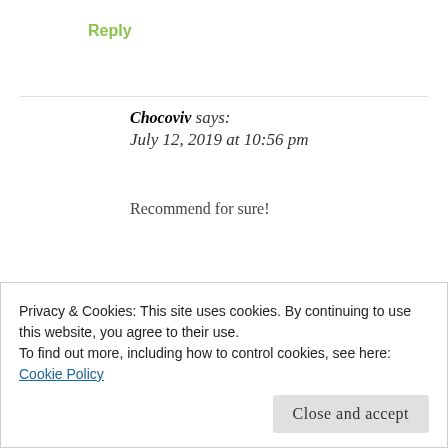Reply
Chocoviv says:
July 12, 2019 at 10:56 pm
Recommend for sure!
★ Like
Privacy & Cookies: This site uses cookies. By continuing to use this website, you agree to their use.
To find out more, including how to control cookies, see here: Cookie Policy
Close and accept